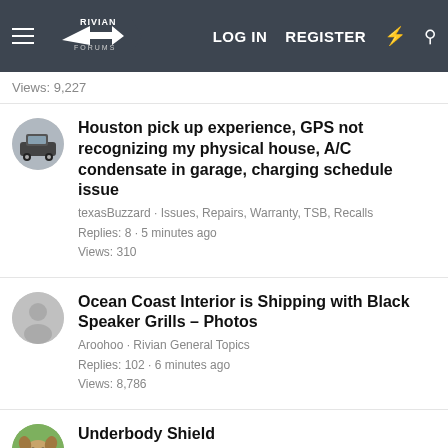Rivian Forums — LOG IN  REGISTER
Views: 9,227
Houston pick up experience, GPS not recognizing my physical house, A/C condensate in garage, charging schedule issue
texasBuzzard · Issues, Repairs, Warranty, TSB, Recalls
Replies: 8 · 5 minutes ago
Views: 310
Ocean Coast Interior is Shipping with Black Speaker Grills - Photos
Aroohoo · Rivian General Topics
Replies: 102 · 6 minutes ago
Views: 8,786
Underbody Shield
Sully151 · R1S SUV Specific Topics
Replies: 8 · 7 minutes ago
Views: 107